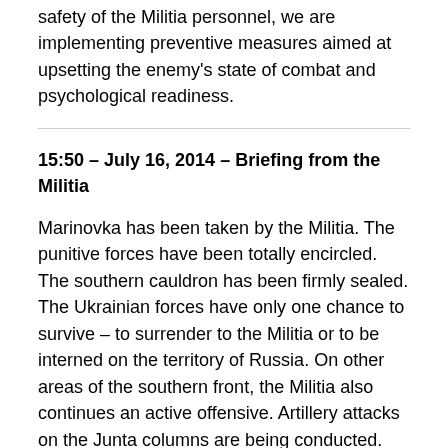safety of the Militia personnel, we are implementing preventive measures aimed at upsetting the enemy's state of combat and psychological readiness.
15:50 – July 16, 2014 – Briefing from the Militia
Marinovka has been taken by the Militia. The punitive forces have been totally encircled. The southern cauldron has been firmly sealed. The Ukrainian forces have only one chance to survive – to surrender to the Militia or to be interned on the territory of Russia. On other areas of the southern front, the Militia also continues an active offensive. Artillery attacks on the Junta columns are being conducted. The Militia periodically uses Grad systems.
17:05 – July 16, 2014 – Briefing from the Militia